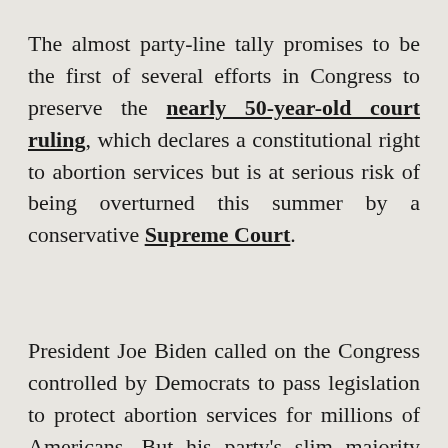The almost party-line tally promises to be the first of several efforts in Congress to preserve the nearly 50-year-old court ruling, which declares a constitutional right to abortion services but is at serious risk of being overturned this summer by a conservative Supreme Court.
President Joe Biden called on the Congress controlled by Democrats to pass legislation to protect abortion services for millions of Americans. But his party's slim majority proved unable to overcome the filibuster led by Republicans, who have been working for decades to install conservative Supreme Court justices and end